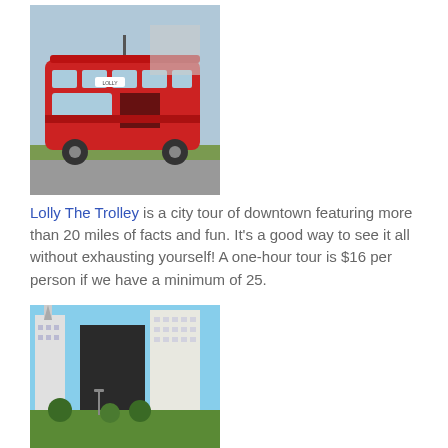[Figure (photo): Photo of Lolly The Trolley, a red trolley bus parked outdoors on a grassy area near a building]
Lolly The Trolley is a city tour of downtown featuring more than 20 miles of facts and fun.  It's a good way to see it all without exhausting yourself!  A one-hour tour is $16 per person if we have a minimum of 25.
[Figure (photo): Photo of downtown city buildings and skyline with green park area in the foreground]